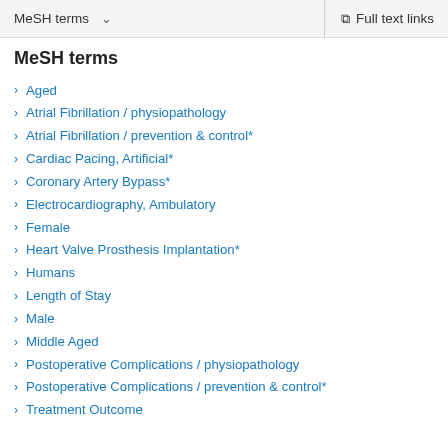MeSH terms   ∨   Full text links
MeSH terms
Aged
Atrial Fibrillation / physiopathology
Atrial Fibrillation / prevention & control*
Cardiac Pacing, Artificial*
Coronary Artery Bypass*
Electrocardiography, Ambulatory
Female
Heart Valve Prosthesis Implantation*
Humans
Length of Stay
Male
Middle Aged
Postoperative Complications / physiopathology
Postoperative Complications / prevention & control*
Treatment Outcome